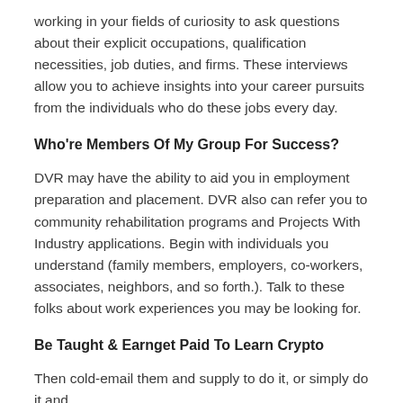working in your fields of curiosity to ask questions about their explicit occupations, qualification necessities, job duties, and firms. These interviews allow you to achieve insights into your career pursuits from the individuals who do these jobs every day.
Who're Members Of My Group For Success?
DVR may have the ability to aid you in employment preparation and placement. DVR also can refer you to community rehabilitation programs and Projects With Industry applications. Begin with individuals you understand (family members, employers, co-workers, associates, neighbors, and so forth.). Talk to these folks about work experiences you may be looking for.
Be Taught & Earnget Paid To Learn Crypto
Then cold-email them and supply to do it, or simply do it and